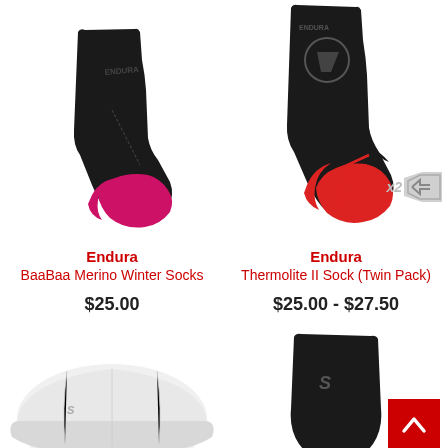[Figure (photo): Endura BaaBaa Merino Winter Socks - black cycling sock with pink/red toe and heel]
[Figure (photo): Endura Thermolite II Sock Twin Pack - black cycling sock with red toe, heel, and stripe accents, with x2 twin pack badge]
Endura
BaaBaa Merino Winter Socks
$25.00
Endura
Thermolite II Sock (Twin Pack)
$25.00 - $27.50
[Figure (photo): White Specialized cycling cap, partially visible at bottom left]
[Figure (photo): Black Specialized item, partially visible at bottom right]